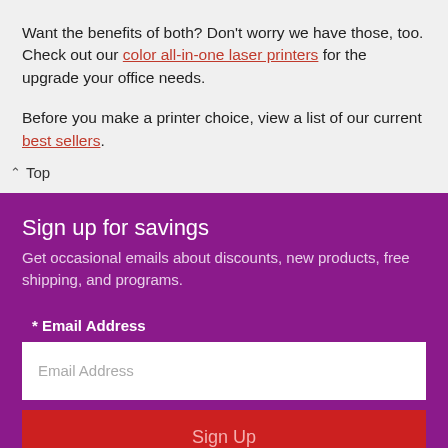Want the benefits of both? Don't worry we have those, too. Check out our color all-in-one laser printers for the upgrade your office needs.
Before you make a printer choice, view a list of our current best sellers.
Top
Sign up for savings
Get occasional emails about discounts, new products, free shipping, and programs.
* Email Address
Email Address
Sign Up